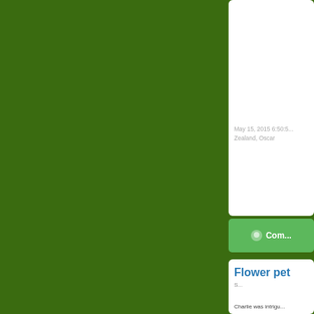[Figure (screenshot): Green background (dark green #3a6b10) taking up the left two-thirds of the page, with partial UI cards visible on the right side. The top card shows a date 'May 15, 2015 6:50:5...' and 'Zealand, Oscar'. A green comment button with speech bubble icon and text 'Com...' is visible. A second white card below shows a blue heading 'Flower pe...' with gray subtext 'S...' and body text 'Charlie was intrigu...']